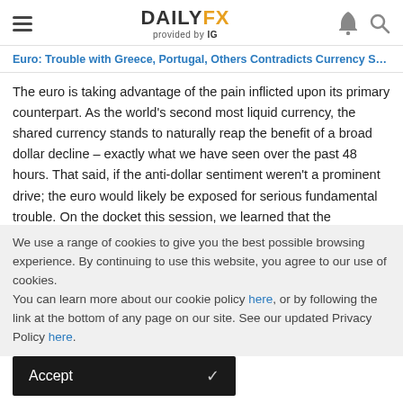DAILYFX provided by IG
Euro: Trouble with Greece, Portugal, Others Contradicts Currency Strength
The euro is taking advantage of the pain inflicted upon its primary counterpart. As the world's second most liquid currency, the shared currency stands to naturally reap the benefit of a broad dollar decline – exactly what we have seen over the past 48 hours. That said, if the anti-dollar sentiment weren't a prominent drive; the euro would likely be exposed for serious fundamental trouble. On the docket this session, we learned that the Portuguese President rejected the Prime Minister Coelho's seemingly effective plan and sets the country on pace for further struggle to secure Troika aid. In
We use a range of cookies to give you the best possible browsing experience. By continuing to use this website, you agree to our use of cookies.
You can learn more about our cookie policy here, or by following the link at the bottom of any page on our site. See our updated Privacy Policy here.
Accept